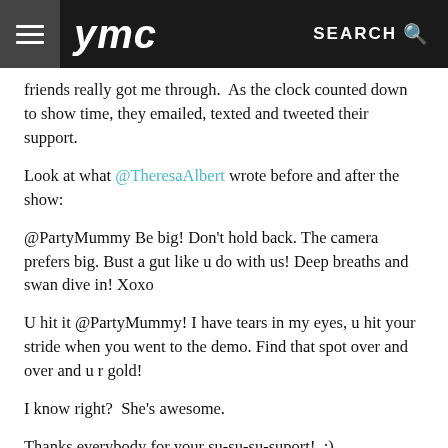ymc SEARCH
friends really got me through.  As the clock counted down to show time, they emailed, texted and tweeted their support.
Look at what @TheresaAlbert wrote before and after the show:
@PartyMummy Be big! Don't hold back. The camera prefers big. Bust a gut like u do with us! Deep breaths and swan dive in! Xoxo
U hit it @PartyMummy! I have tears in my eyes, u hit your stride when you went to the demo. Find that spot over and over and u r gold!
I know right?  She's awesome.
Thanks everybody for your su-su-su-suport!  ;)